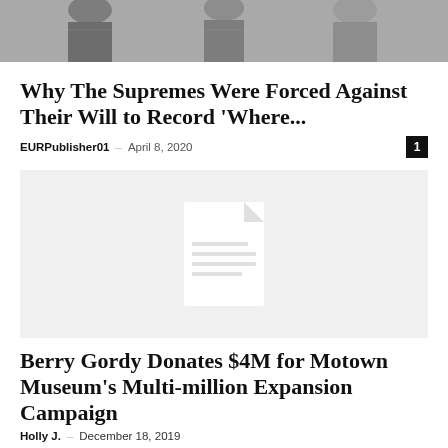[Figure (photo): Black and white photograph of The Supremes, partial view, cropped at top of page]
Why The Supremes Were Forced Against Their Will to Record ‘Where...
EURPublisher01 – April 8, 2020
[Figure (illustration): Placeholder image with a document/file icon on light gray background]
Berry Gordy Donates $4M for Motown Museum’s Multi-million Expansion Campaign
Holly J. – December 18, 2019